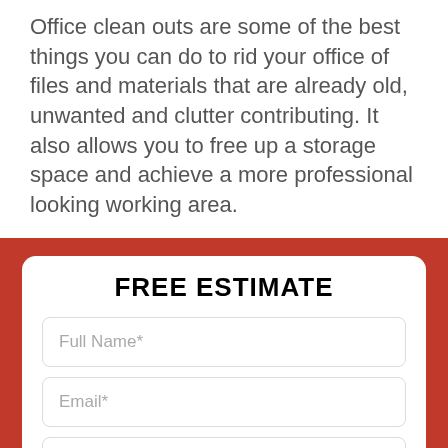Office clean outs are some of the best things you can do to rid your office of files and materials that are already old, unwanted and clutter contributing. It also allows you to free up a storage space and achieve a more professional looking working area.
FREE ESTIMATE
Full Name*
Email*
Phone
Postcode*
Description*